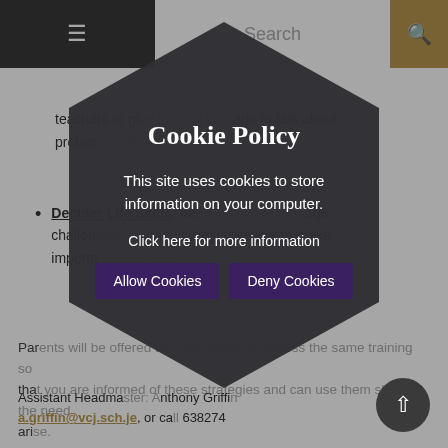≡   Search   🔍
teachers to give [pupils] courage to talk about problems with them.
Decider Life Skills: helping boys to manage challenges by giving them strategies to make important decisions.
Parents will be offered the opportunity to access the same training so that you are informed of these strategies and can use them should the need arise.
Key
Assistant Headmaster: Anthony Griffin
a.griffin@vcj.sch.je, or call ...638274
[Figure (screenshot): Cookie policy modal overlay with hexagonal dark background shape. Contains title 'Cookie Policy', body text 'This site uses cookies to store information on your computer.', link 'Click here for more information', and two buttons: 'Allow Cookies' and 'Deny Cookies'. A close X button appears at the top.]